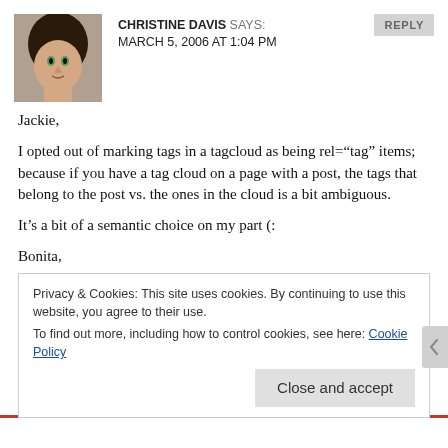[Figure (photo): Avatar photo of Christine Davis, a woman with dark hair and green eyes]
CHRISTINE DAVIS SAYS:
MARCH 5, 2006 AT 1:04 PM
REPLY
Jackie,
I opted out of marking tags in a tagcloud as being rel="tag" items; because if you have a tag cloud on a page with a post, the tags that belong to the post vs. the ones in the cloud is a bit ambiguous.
It's a bit of a semantic choice on my part (:
Bonita,
I think we're chatting in the forum, so I'll leave replies over there (:
Privacy & Cookies: This site uses cookies. By continuing to use this website, you agree to their use.
To find out more, including how to control cookies, see here: Cookie Policy
Close and accept